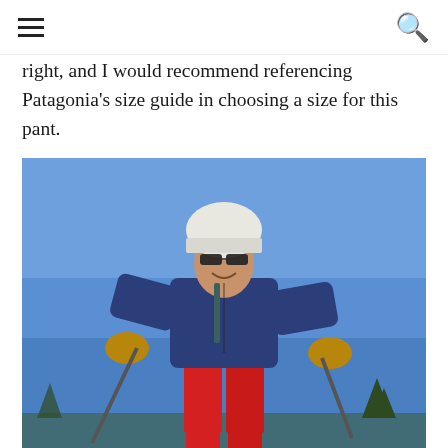[hamburger menu icon] [search icon]
right, and I would recommend referencing Patagonia's size guide in choosing a size for this pant.
[Figure (photo): A person wearing a white climbing helmet, sunglasses, a navy blue puffer jacket, red pants, and tan gloves, holding trekking poles, standing against a clear blue sky background.]